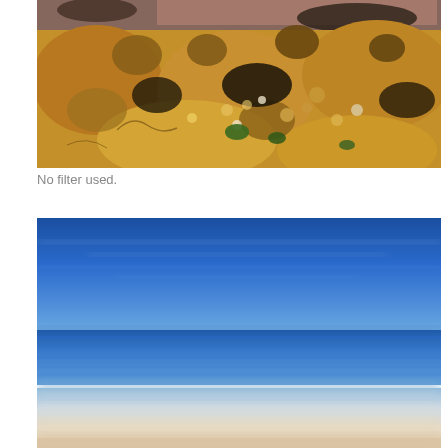[Figure (photo): Close-up aerial/overhead photograph of rocky coastal terrain with orange-brown sandstone boulders, pebbles, small green plants, and wet darker rocks with reddish sandy water visible at the top.]
No filter used.
[Figure (photo): Long-exposure seascape photograph showing a serene ocean scene with a deep blue sky, smooth silky blue water on the horizon, and a soft creamy white/peach foreground where waves have been blurred by long exposure. Minimalist and calm composition.]